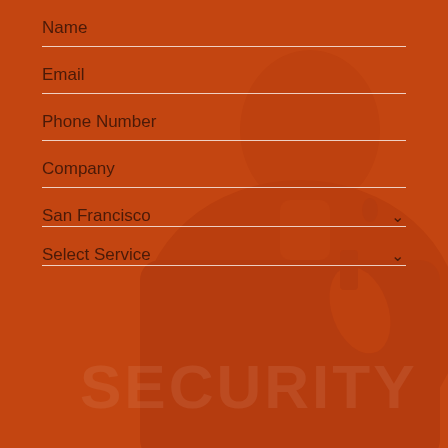[Figure (photo): Background image of a security guard in uniform viewed from behind, with orange overlay tint]
Name
Email
Phone Number
Company
San Francisco
Select Service